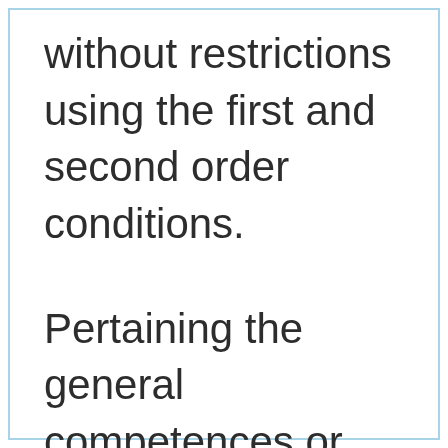without restrictions using the first and second order conditions.
Pertaining the general competences or